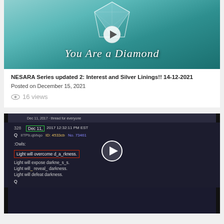[Figure (screenshot): Thumbnail image with a diamond graphic and text 'You Are a Diamond' on a teal background, with a play button overlay]
NESARA Series updated 2: Interest and Silver Linings!! 14-12-2021
Posted on December 15, 2021
16 views
[Figure (screenshot): Screenshot of a dark-themed message board post showing Q drop #328 dated Dec 11, 2017 12:32:11 PM EST with text: ':Owls:' followed by 'Light will overcome d_a_rkness.' (highlighted in red box), 'Light will expose darkne_s_s.', 'Light will reveal_ darkness.', 'Light will defeat darkness.', 'Q']